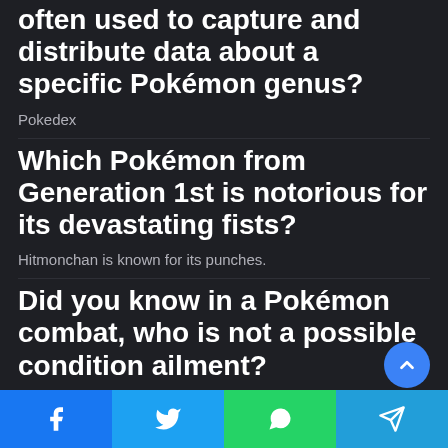often used to capture and distribute data about a specific Pokémon genus?
Pokedex
Which Pokémon from Generation 1st is notorious for its devastating fists?
Hitmonchan is known for its punches.
Did you know in a Pokémon combat, who is not a possible condition ailment?
Vertigo is that Pokémon.